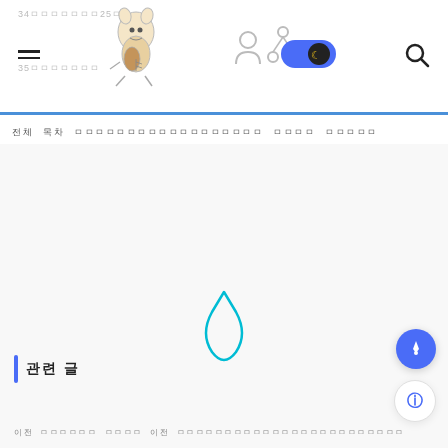Website/blog header with navigation, logo illustration, toggle, and search icon
전체 목차  ㅁㅁㅁㅁㅁㅁㅁㅁㅁㅁㅁㅁㅁㅁㅁㅁㅁㅁㅁㅁ  ㅁㅁㅁㅁ  ㅁㅁㅁㅁㅁ
[Figure (illustration): Teal/cyan outlined bag or water-drop shape icon centered on page]
관련 글
이전 ㅁㅁㅁㅁㅁㅁ ㅁㅁㅁㅁ 이전 ㅁㅁㅁㅁㅁㅁㅁㅁㅁㅁㅁㅁㅁㅁㅁㅁㅁㅁㅁㅁㅁㅁㅁㅁㅁ